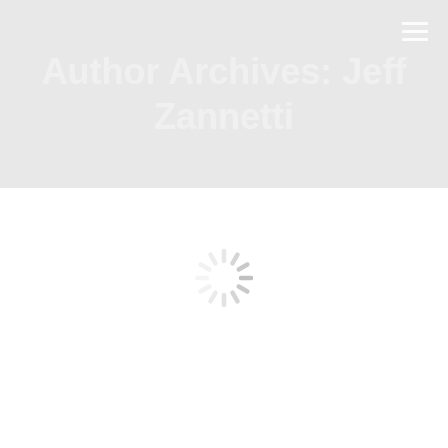Author Archives: Jeff Zannetti
[Figure (other): Loading spinner icon — circular arrangement of rounded dashes in light gray indicating content is loading]